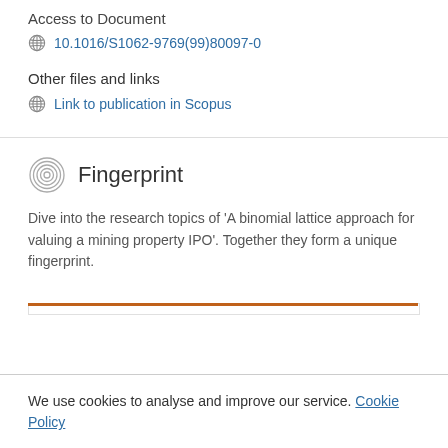Access to Document
10.1016/S1062-9769(99)80097-0
Other files and links
Link to publication in Scopus
Fingerprint
Dive into the research topics of 'A binomial lattice approach for valuing a mining property IPO'. Together they form a unique fingerprint.
We use cookies to analyse and improve our service. Cookie Policy